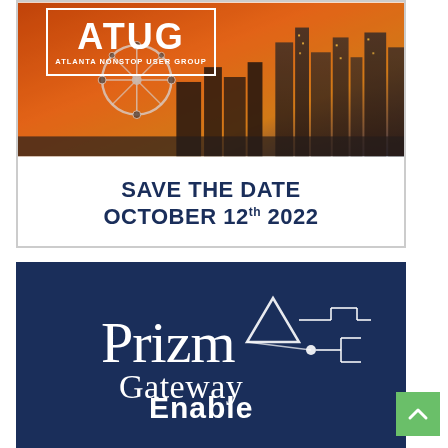[Figure (illustration): ATUG (Atlanta NonStop User Group) logo and event save-the-date card. Top portion shows Atlanta skyline with Ferris wheel at sunset, with ATUG logo box overlaid. Bottom white section text: SAVE THE DATE OCTOBER 12th 2022.]
[Figure (logo): Prizm Gateway logo on dark navy background with white text 'Prizm Gateway' with geometric mountain/circuit icon. Below: 'Enable' in bold white text.]